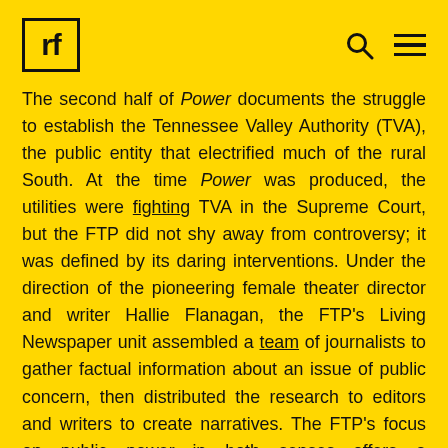rf [logo] [search icon] [menu icon]
The second half of Power documents the struggle to establish the Tennessee Valley Authority (TVA), the public entity that electrified much of the rural South. At the time Power was produced, the utilities were fighting TVA in the Supreme Court, but the FTP did not shy away from controversy; it was defined by its daring interventions. Under the direction of the pioneering female theater director and writer Hallie Flanagan, the FTP's Living Newspaper unit assembled a team of journalists to gather factual information about an issue of public concern, then distributed the research to editors and writers to create narratives. The FTP's focus on public power—in both senses—offers a suggestive model for today.